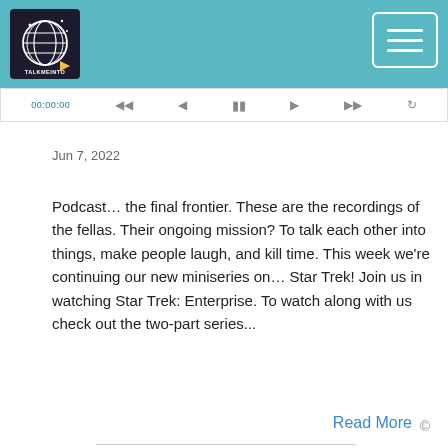[Figure (logo): TalkMeInto podcast logo: circular globe/world icon with stars, dark background, arrow, text 'TALKMEINTO']
[Figure (screenshot): Hamburger menu button (three horizontal lines) with white border on teal background, top right of header]
[Figure (screenshot): Media player bar showing timestamp '00:00:00' and media controls icons]
Jun 7, 2022
Podcast… the final frontier. These are the recordings of the fellas. Their ongoing mission? To talk each other into things, make people laugh, and kill time. This week we're continuing our new miniseries on… Star Trek! Join us in watching Star Trek: Enterprise. To watch along with us check out the two-part series...
Read More
©